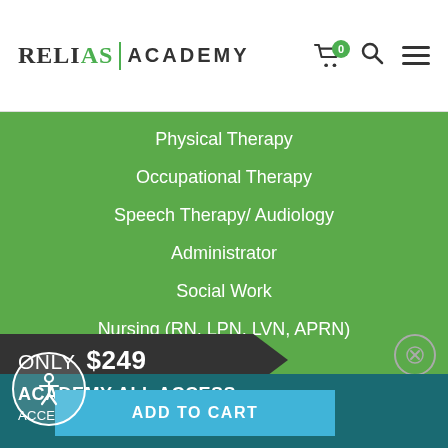RELIAS | ACADEMY
Physical Therapy
Occupational Therapy
Speech Therapy/ Audiology
Administrator
Social Work
Nursing (RN, LPN, LVN, APRN)
COURSES
Course Search
Find By License
Refer a Friend
SUPPORT
ONLY $249
ACADEMY ALL ACCESS
ACCESS TO OVER 1,450 COURSES!
ADD TO CART